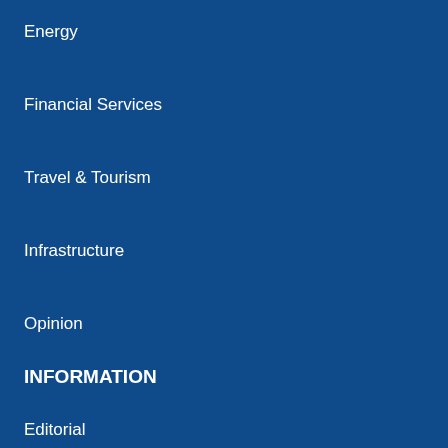Energy
Financial Services
Travel & Tourism
Infrastructure
Opinion
INFORMATION
Editorial
Columnists
Letters
Policy
Technology & Telecoms
TAGS